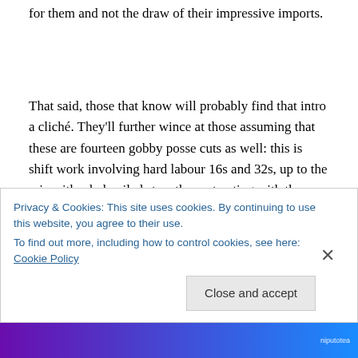for them and not the draw of their impressive imports.
That said, those that know will probably find that intro a cliché. They'll further wince at those assuming that these are fourteen gobby posse cuts as well: this is shift work involving hard labour 16s and 32s, up to the mic with a hobnailed step, then retreating with the smoothness and intuition of a relay team where routine, practice hours and
Privacy & Cookies: This site uses cookies. By continuing to use this website, you agree to their use.
To find out more, including how to control cookies, see here: Cookie Policy